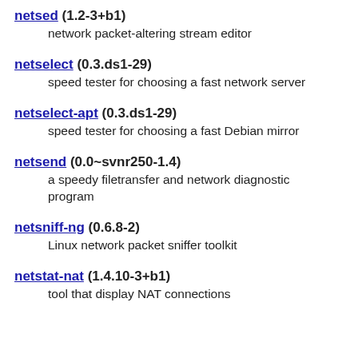netsed (1.2-3+b1)
    network packet-altering stream editor
netselect (0.3.ds1-29)
    speed tester for choosing a fast network server
netselect-apt (0.3.ds1-29)
    speed tester for choosing a fast Debian mirror
netsend (0.0~svnr250-1.4)
    a speedy filetransfer and network diagnostic program
netsniff-ng (0.6.8-2)
    Linux network packet sniffer toolkit
netstat-nat (1.4.10-3+b1)
    tool that display NAT connections